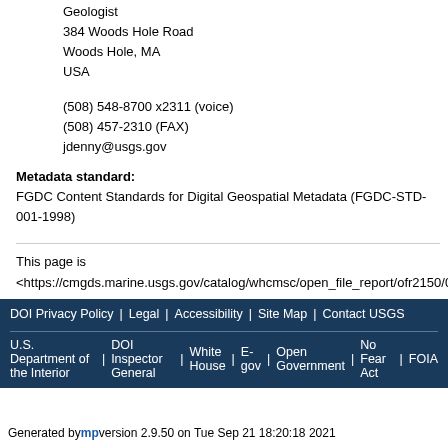Geologist
384 Woods Hole Road
Woods Hole, MA
USA
(508) 548-8700 x2311 (voice)
(508) 457-2310 (FAX)
jdenny@usgs.gov
Metadata standard: FGDC Content Standards for Digital Geospatial Metadata (FGDC-STD-001-1998)
This page is <https://cmgds.marine.usgs.gov/catalog/whcmsc/open_file_report/ofr2150/02031_sss_trk.shp.faq.html>
DOI Privacy Policy | Legal | Accessibility | Site Map | Contact USGS
U.S. Department of the Interior | DOI Inspector General | White House | E-gov | Open Government | No Fear Act | FOIA
Generated by mp version 2.9.50 on Tue Sep 21 18:20:18 2021